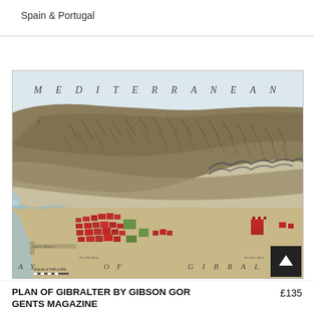Spain & Portugal
[Figure (map): Antique engraved plan of Gibraltar showing the Rock of Gibraltar from above, with the Mediterranean Sea to the north, the Bay of Gibraltar to the south and west, fortifications and town buildings shown in red and green on the western peninsula, with spaced lettering reading 'MEDITERRANEAN' at top and 'BAY OF GIBRALTAR' along the bottom.]
PLAN OF GIBRALTER BY GIBSON GOR GENTS MAGAZINE
£135